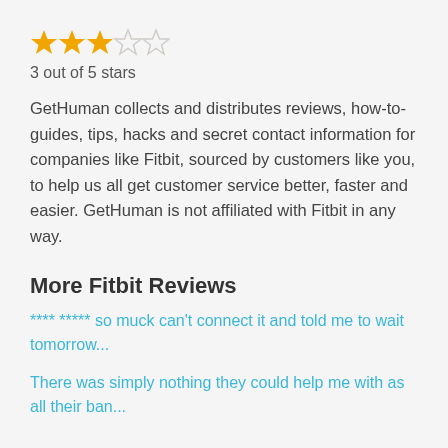[Figure (other): Star rating: 3 out of 5 stars shown with 3 filled gold stars and 2 empty stars]
3 out of 5 stars
GetHuman collects and distributes reviews, how-to-guides, tips, hacks and secret contact information for companies like Fitbit, sourced by customers like you, to help us all get customer service better, faster and easier. GetHuman is not affiliated with Fitbit in any way.
More Fitbit Reviews
**** ***** so muck can't connect it and told me to wait tomorrow...
There was simply nothing they could help me with as all their ban...